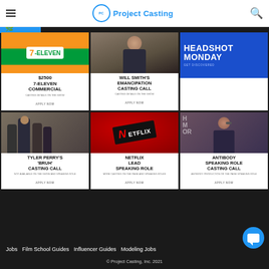Project Casting
[Figure (other): 7-Eleven store sign image above card text: $2500 7-ELEVEN COMMERCIAL, APPLY NOW]
[Figure (photo): Will Smith smiling at event above card text: WILL SMITH'S EMANCIPATION CASTING CALL, APPLY NOW]
[Figure (infographic): Blue background card with HEADSHOT MONDAY, GET DISCOVERED]
[Figure (photo): Tyler Perry with group above card text: TYLER PERRY'S 'BRUH' CASTING CALL, APPLY NOW]
[Figure (photo): Netflix logo card above text: NETFLIX LEAD SPEAKING ROLE, APPLY NOW]
[Figure (photo): Man with glasses at event above card text: ANTIBODY SPEAKING ROLE CASTING CALL, APPLY NOW]
Jobs   Film School Guides   Influencer Guides   Modeling Jobs
© Project Casting, Inc. 2021